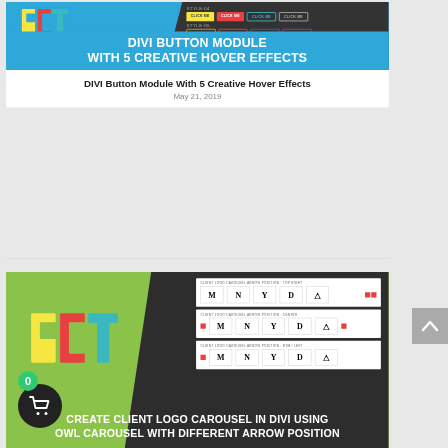[Figure (screenshot): DIVI Button Module With 5 Creative Hover Effects promotional card with blue/dark background and DCT logo, showing button style examples]
DIVI BUTTON MODULE WITH 5 CREATIVE HOVER EFFECTS
DIVI Button Module With 5 Creative Hover Effects
May 21, 2019
[Figure (screenshot): Create Client Logo Carousel in Divi using Owl Carousel with Different Arrow Position promotional card with green/dark background, DCT logo, and carousel UI examples]
CREATE CLIENT LOGO CAROUSEL IN DIVI USING OWL CAROUSEL WITH DIFFERENT ARROW POSITION